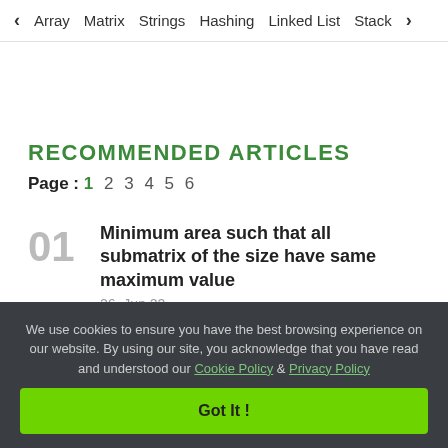< Array   Matrix   Strings   Hashing   Linked List   Stack >
RECOMMENDED ARTICLES
Page : 1 2 3 4 5 6
01  Minimum area such that all submatrix of the size have same maximum value
26, Jun 22
We use cookies to ensure you have the best browsing experience on our website. By using our site, you acknowledge that you have read and understood our Cookie Policy & Privacy Policy
Got It !